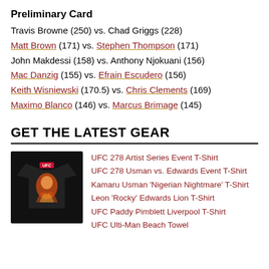Preliminary Card
Travis Browne (250) vs. Chad Griggs (228)
Matt Brown (171) vs. Stephen Thompson (171)
John Makdessi (158) vs. Anthony Njokuani (156)
Mac Danzig (155) vs. Efrain Escudero (156)
Keith Wisniewski (170.5) vs. Chris Clements (169)
Maximo Blanco (146) vs. Marcus Brimage (145)
GET THE LATEST GEAR
[Figure (photo): UFC branded t-shirt with fighter graphic on black background]
UFC 278 Artist Series Event T-Shirt
UFC 278 Usman vs. Edwards Event T-Shirt
Kamaru Usman 'Nigerian Nightmare' T-Shirt
Leon 'Rocky' Edwards Lion T-Shirt
UFC Paddy Pimblett Liverpool T-Shirt
UFC Ulti-Man Beach Towel